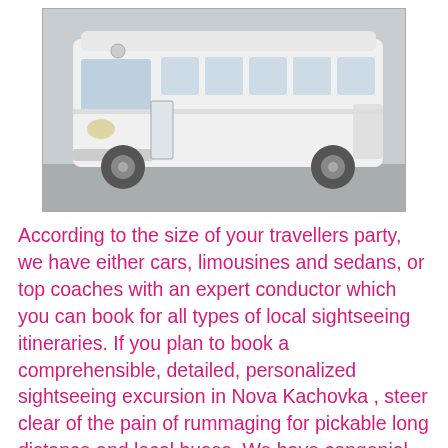[Figure (photo): A white modern coach/tour bus photographed from the front-left angle, parked on a gray surface. The bus is white with large windows along the side.]
According to the size of your travellers party, we have either cars, limousines and sedans, or top coaches with an expert conductor which you can book for all types of local sightseeing itineraries. If you plan to book a comprehensible, detailed, personalized sightseeing excursion in Nova Kachovka , steer clear of the pain of rummaging for pickable long distance and local buses. We have congenial and punctual partner bus charter companies for your individual sightseeing trip in Nova Kachovka . If your group of travellers is in need of modern